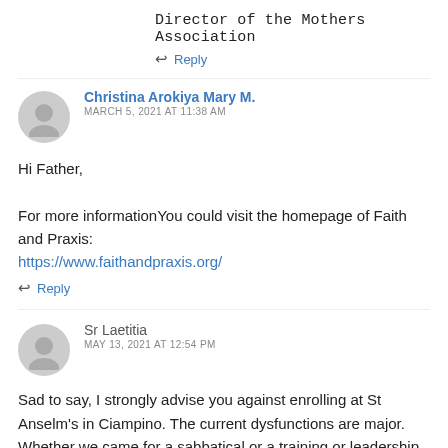Director of the Mothers Association
Reply
Christina Arokiya Mary M.
MARCH 5, 2021 AT 11:38 AM
Hi Father,

For more informationYou could visit the homepage of Faith and Praxis:
https://www.faithandpraxis.org/
Reply
Sr Laetitia
MAY 13, 2021 AT 12:54 PM
Sad to say, I strongly advise you against enrolling at St Anselm's in Ciampino. The current dysfunctions are major. Whether we came for a sabbatical or a training or leadership course, the disappointment is